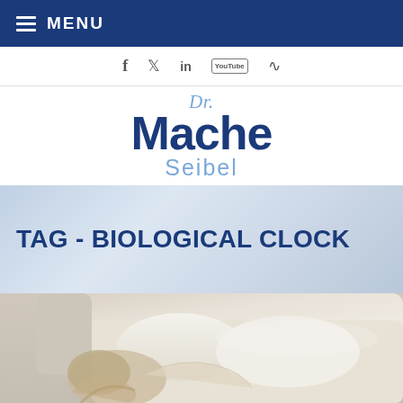MENU
[Figure (screenshot): Social media icons: Facebook (f), Twitter (bird), LinkedIn (in), YouTube, RSS]
[Figure (logo): Dr. Mache Seibel logo — 'Dr.' in light blue italic, 'Mache' in dark navy bold large, 'Seibel' in light blue]
TAG - BIOLOGICAL CLOCK
[Figure (photo): Woman lying on a white sofa/couch, viewed from above, with light-colored hair visible]